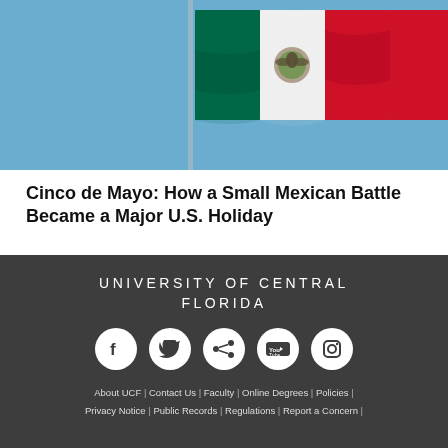[Figure (photo): Mexican flag waving against a blue sky, showing green, white, and red vertical stripes with the national coat of arms in the center]
Cinco de Mayo: How a Small Mexican Battle Became a Major U.S. Holiday
UNIVERSITY OF CENTRAL FLORIDA | About UCF | Contact Us | Faculty | Online Degrees | Policies | Privacy Notice | Public Records | Regulations | Report a Concern